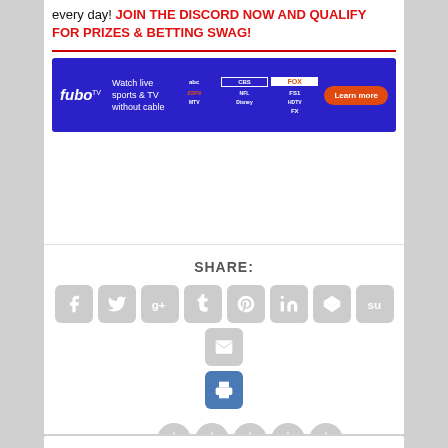every day! JOIN THE DISCORD NOW AND QUALIFY FOR PRIZES & BETTING SWAG!
[Figure (other): FuboTV advertisement banner: Watch live sports & TV without cable, with network logos and Learn more button]
SHARE:
[Figure (other): Social share icons: Facebook, Twitter, Google+, Tumblr, Pinterest, LinkedIn, Buffer, StumbleUpon, Email, Print]
RATE:
[Figure (other): 5 gray star rating circles]